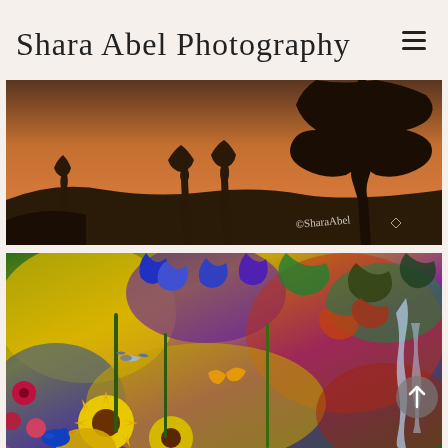Shara Abel Photography
[Figure (photo): Sunset landscape panorama showing silhouetted trees and rolling hills against an orange-brown sky, with photographer watermark 'SharaAbel' in lower right corner]
[Figure (photo): Vibrant colorful digital art photograph depicting a fantastical garden with yellow sunflowers, blue birds, butterflies, hummingbirds, and a waterfall among richly colored foliage in blues, purples, yellows, and greens]